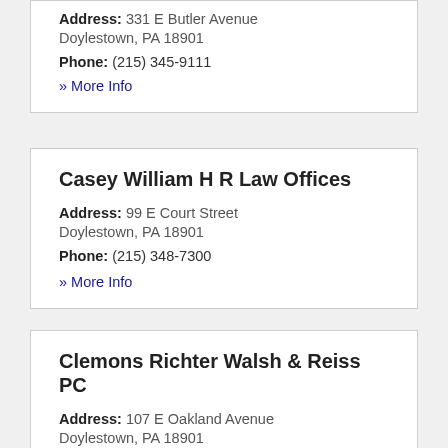Address: 331 E Butler Avenue
Doylestown, PA 18901
Phone: (215) 345-9111
» More Info
Casey William H R Law Offices
Address: 99 E Court Street
Doylestown, PA 18901
Phone: (215) 348-7300
» More Info
Clemons Richter Walsh & Reiss PC
Address: 107 E Oakland Avenue
Doylestown, PA 18901